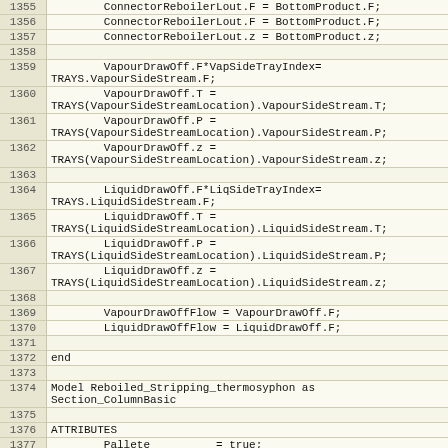Code listing lines 1355-1379 showing engineering simulation model code for Reboiled_Stripping_thermosyphon